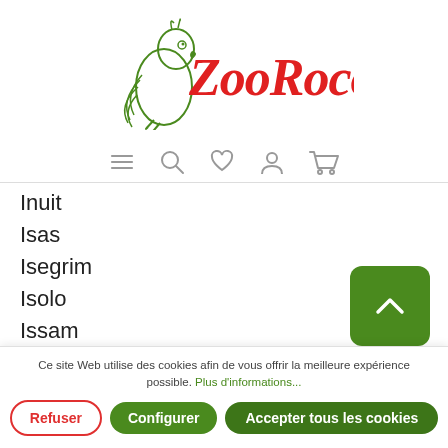[Figure (logo): Zoo Roco logo with green parrot illustration and red cursive text 'Zoo Roco']
[Figure (infographic): Navigation icons: hamburger menu, search, heart/wishlist, user account, shopping cart]
Inuit
Isas
Isegrim
Isolo
Issam
Itto
Ce site Web utilise des cookies afin de vous offrir la meilleure expérience possible. Plus d'informations...
Refuser | Configurer | Accepter tous les cookies